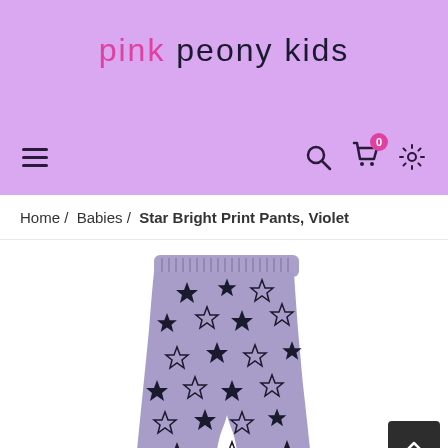pink peony kids
Home / Babies / Star Bright Print Pants, Violet
[Figure (photo): Violet/purple children's pants with star print pattern, shown from waist down with elastic waistband]